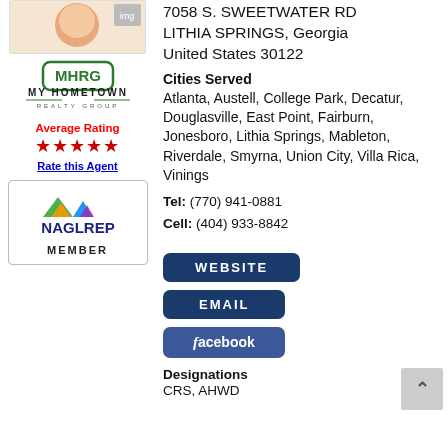[Figure (photo): Agent profile photo thumbnail (peach/skin-tone circular face)]
[Figure (logo): MHRG My Hometown Realty Group logo with green rounded rectangle badge]
Average Rating
★★★★★
Rate this Agent
[Figure (logo): NAGLREP MEMBER badge with colorful mountain/triangle logo]
7058 S. SWEETWATER RD
LITHIA SPRINGS, Georgia
United States 30122
Cities Served
Atlanta, Austell, College Park, Decatur, Douglasville, East Point, Fairburn, Jonesboro, Lithia Springs, Mableton, Riverdale, Smyrna, Union City, Villa Rica, Vinings
Tel: (770) 941-0881
Cell: (404) 933-8842
[Figure (other): WEBSITE button - dark navy blue rounded rectangle]
[Figure (other): EMAIL button - dark navy blue rounded rectangle]
[Figure (other): facebook button - blue rounded rectangle with facebook branding]
Designations
CRS, AHWD